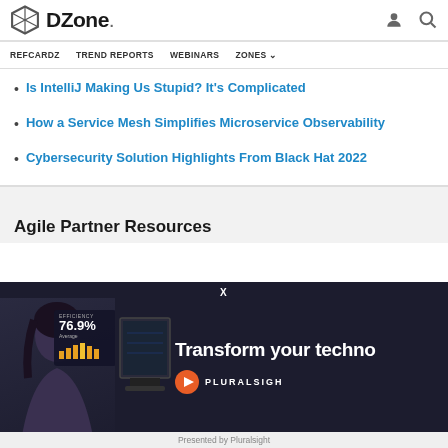DZone. — REFCARDZ   TREND REPORTS   WEBINARS   ZONES
Is IntelliJ Making Us Stupid? It's Complicated
How a Service Mesh Simplifies Microservice Observability
Cybersecurity Solution Highlights From Black Hat 2022
Agile Partner Resources
[Figure (screenshot): Pluralsight advertisement overlay showing a woman with efficiency stats (76.9% Average), a monitor silhouette, text 'Transform your techno...' and Pluralsight logo. X close button at top. 'Presented by Pluralsight' at bottom.]